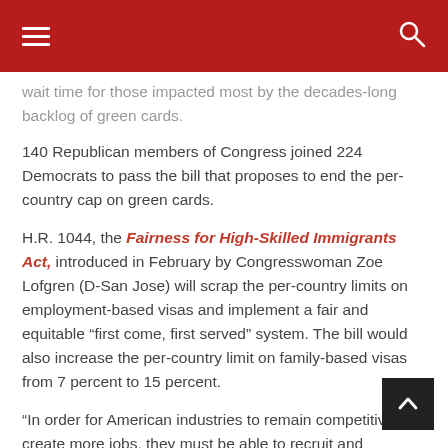≡  [hamburger menu]  [search icon]
wait time for those impacted most by the decades-long backlog of green cards.
140 Republican members of Congress joined 224 Democrats to pass the bill that proposes to end the per-country cap on green cards.
H.R. 1044, the Fairness for High-Skilled Immigrants Act, introduced in February by Congresswoman Zoe Lofgren (D-San Jose) will scrap the per-country limits on employment-based visas and implement a fair and equitable “first come, first served” system. The bill would also increase the per-country limit on family-based visas from 7 percent to 15 percent.
“In order for American industries to remain competitive and create more jobs, they must be able to recruit and